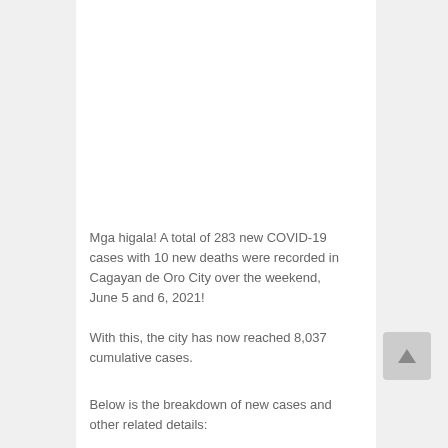Mga higala! A total of 283 new COVID-19 cases with 10 new deaths were recorded in Cagayan de Oro City over the weekend, June 5 and 6, 2021!
With this, the city has now reached 8,037 cumulative cases.
Below is the breakdown of new cases and other related details: